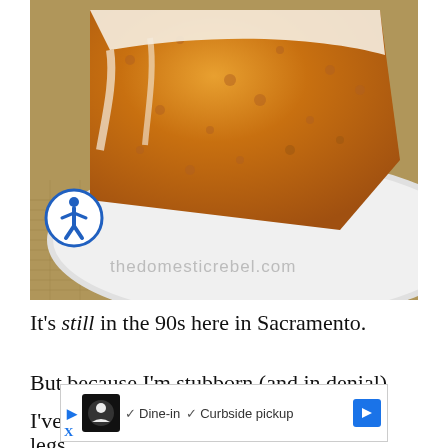[Figure (photo): Close-up photo of a slice of glazed pumpkin bread with white icing on a white scalloped plate, on a burlap background. Watermark reads 'thedomesticrebel.com'. Accessibility icon visible in lower left of image.]
It's still in the 90s here in Sacramento.
But because I'm stubborn (and in denial) I've ... d legs...
[Figure (screenshot): Advertisement bar showing a restaurant icon, checkmarks for Dine-in and Curbside pickup, and a blue navigation arrow icon. Close button with X at bottom left.]